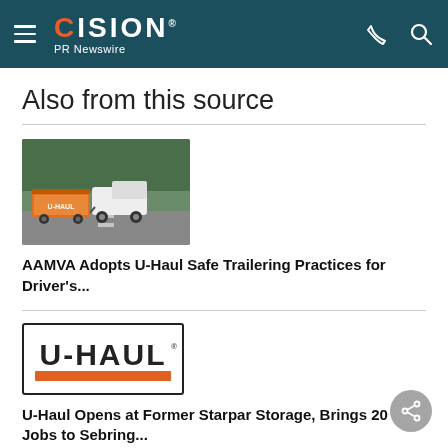CISION PR Newswire
Also from this source
[Figure (photo): A white pickup truck towing a U-Haul trailer on a road with trees in the background]
AAMVA Adopts U-Haul Safe Trailering Practices for Driver's...
[Figure (logo): U-Haul logo with orange bar underneath]
U-Haul Opens at Former Starpar Storage, Brings 20 Jobs to Sebring...